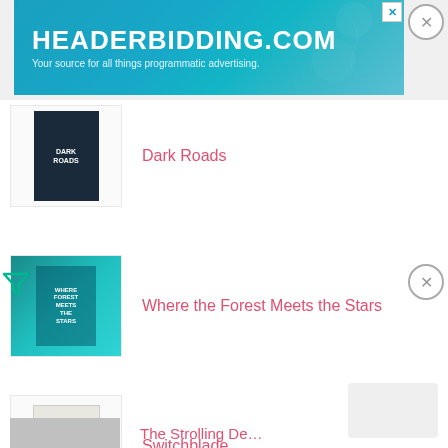[Figure (screenshot): HeaderBidding.com advertisement banner with teal/blue gradient background. Text reads 'HEADERBIDDING.COM' and 'Your source for all things programmatic advertising.']
Dark Roads
Where the Forest Meets the Stars
Switchblade
The Strolling Deadline (partial)